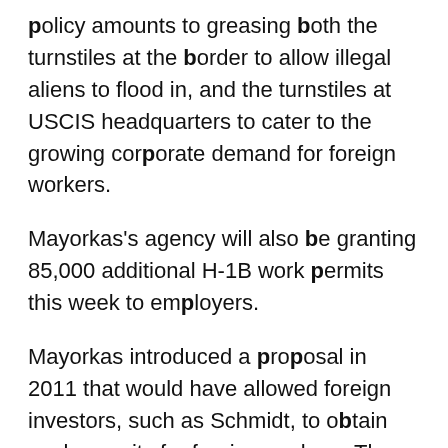policy amounts to greasing both the turnstiles at the border to allow illegal aliens to flood in, and the turnstiles at USCIS headquarters to cater to the growing corporate demand for foreign workers.
Mayorkas's agency will also be granting 85,000 additional H-1B work permits this week to employers.
Mayorkas introduced a proposal in 2011 that would have allowed foreign investors, such as Schmidt, to obtain work permits for foreign workers. The House bill includes a similar provision called “W Visa”.
This inflow has driven many U.S. technology